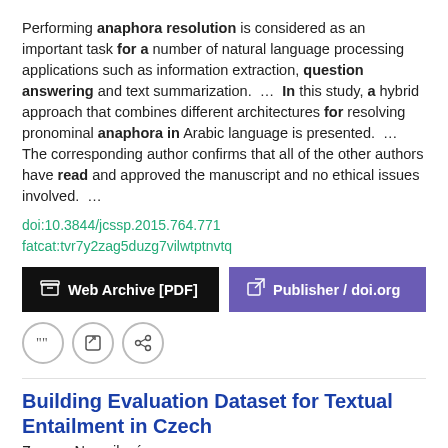Performing anaphora resolution is considered as an important task for a number of natural language processing applications such as information extraction, question answering and text summarization. ... In this study, a hybrid approach that combines different architectures for resolving pronominal anaphora in Arabic language is presented. ... The corresponding author confirms that all of the other authors have read and approved the manuscript and no ethical issues involved. ...
doi:10.3844/jcssp.2015.764.771
fatcat:tvr7y2zag5duzg7vilwtptnvtq
Web Archive [PDF]   Publisher / doi.org
Building Evaluation Dataset for Textual Entailment in Czech
Zuzana Neverilová
2012 Recent Advances in Slavonic Natural Languages Processing
Moreover, large datasets for evaluation are prepared almost exclusively for English language. In this paper we describe methods for automatic dataset for RTE in Czech language and ...